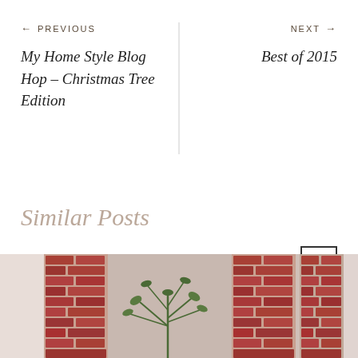← PREVIOUS
My Home Style Blog Hop – Christmas Tree Edition
NEXT →
Best of 2015
Similar Posts
[Figure (photo): Two photos showing brick wall with a plant in the center, and a partial second photo of a brick wall on the right]